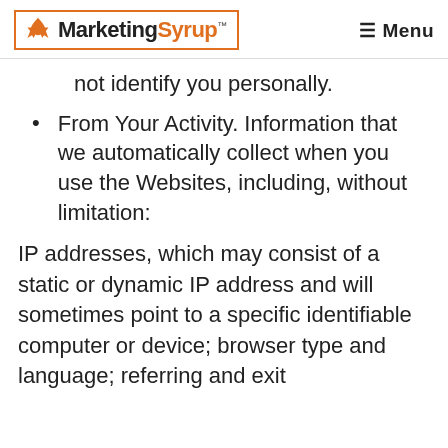MarketingSyrup™  ☰ Menu
not identify you personally.
From Your Activity. Information that we automatically collect when you use the Websites, including, without limitation:
IP addresses, which may consist of a static or dynamic IP address and will sometimes point to a specific identifiable computer or device; browser type and language; referring and exit